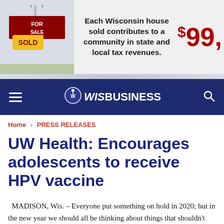[Figure (illustration): Advertisement banner: A 'For Sale / SOLD' real estate sign on the left, with text 'Each Wisconsin house sold contributes to a community in state and local tax revenues.' and a large red price '$99,' on the right.]
[Figure (logo): WisBusiness website navigation bar with dark blue background, hamburger menu on left, WisBusiness logo in center (stylized with Wisconsin badger icon), and search icon on right.]
Home › PRESS RELEASES
UW Health: Encourages adolescents to receive HPV vaccine
MADISON, Wis. – Everyone put something on hold in 2020; but in the new year we should all be thinking about things that shouldn't wait.